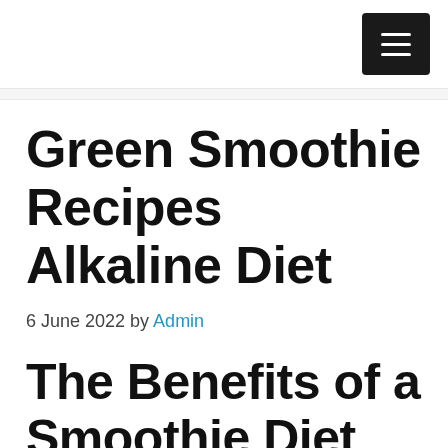☰
Green Smoothie Recipes Alkaline Diet
6 June 2022 by Admin
The Benefits of a Smoothie Diet